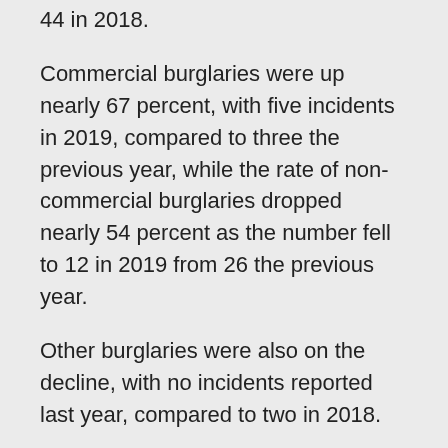44 in 2018.
Commercial burglaries were up nearly 67 percent, with five incidents in 2019, compared to three the previous year, while the rate of non-commercial burglaries dropped nearly 54 percent as the number fell to 12 in 2019 from 26 the previous year.
Other burglaries were also on the decline, with no incidents reported last year, compared to two in 2018.
Larcenies from motor vehicles saw a nearly 74-percent spike as the number climbed to 92 in 2019 from 53 the previous year while other larcenies were up around 5 percent, with 136 incidents as opposed to 129 in 2018.
The rate of auto theft also doubled as the number climbed to 30 from 15 in 2018.